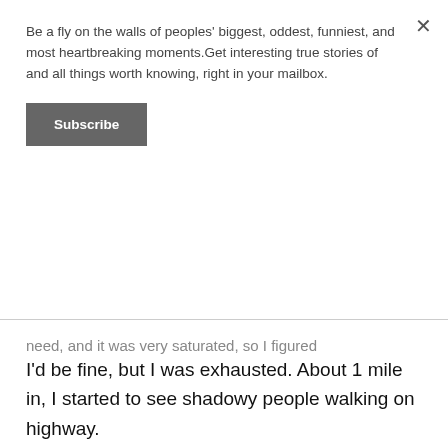Be a fly on the walls of peoples' biggest, oddest, funniest, and most heartbreaking moments.Get interesting true stories of and all things worth knowing, right in your mailbox.
Subscribe
need, and it was very saturated, so I figured
I'd be fine, but I was exhausted. About 1 mile in, I started to see shadowy people walking on highway.